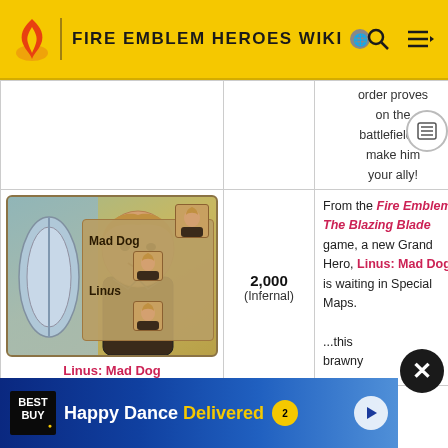FIRE EMBLEM HEROES WIKI
order proves on the battlefield to make him your ally!
[Figure (illustration): Fire Emblem Heroes character banner showing Linus: Mad Dog with nameplate overlay showing portrait thumbnails, name 'Mad Dog' and 'Linus']
Linus: Mad Dog
2,000 (Infernal)
From the Fire Emblem: The Blazing Blade game, a new Grand Hero, Linus: Mad Dog, is waiting in Special Maps. ...this brawny
[Figure (advertisement): Best Buy advertisement: Happy Dance Delivered]